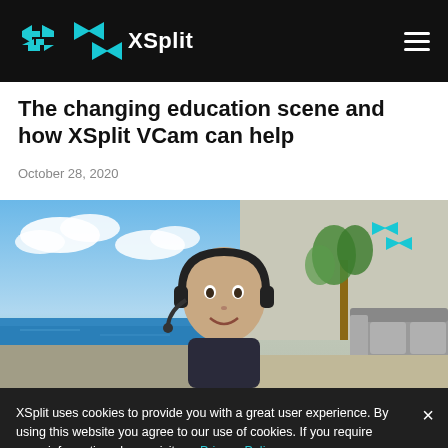XSplit
The changing education scene and how XSplit VCam can help
October 28, 2020
[Figure (photo): A man wearing headphones smiling at the camera, with a virtual beach background on the left and a real living room background on the right, demonstrating XSplit VCam background replacement.]
XSplit uses cookies to provide you with a great user experience. By using this website you agree to our use of cookies. If you require more information please visit our Privacy Policy